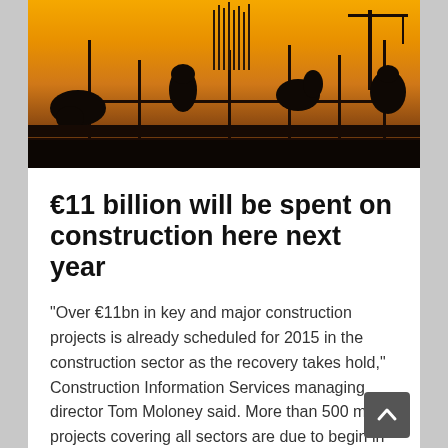[Figure (photo): Silhouette of construction workers on a scaffold against a warm orange/amber sunset sky, showing cranes and rebar in the background]
€11 billion will be spent on construction here next year
"Over €11bn in key and major construction projects is already scheduled for 2015 in the construction sector as the recovery takes hold," Construction Information Services managing director Tom Moloney said. More than 500 major projects covering all sectors are due to begin in the Republic…